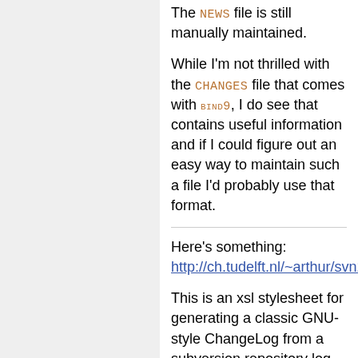The NEWS file is still manually maintained.
While I'm not thrilled with the CHANGES file that comes with bind9, I do see that contains useful information and if I could figure out an easy way to maintain such a file I'd probably use that format.
Here's something: http://ch.tudelft.nl/~arthur/svn2cl/
This is an xsl stylesheet for generating a classic GNU-style ChangeLog from a subversion repository log. It is made from several changelog-like scripts using found in different places.
It's similar to cvs2cl (http://www.red-